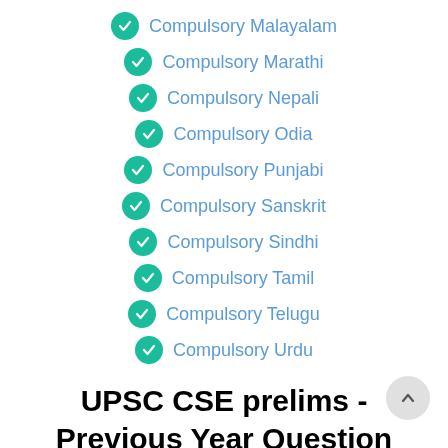Compulsory Malayalam
Compulsory Marathi
Compulsory Nepali
Compulsory Odia
Compulsory Punjabi
Compulsory Sanskrit
Compulsory Sindhi
Compulsory Tamil
Compulsory Telugu
Compulsory Urdu
UPSC CSE prelims - Previous Year Question Papers 2017
General Studies (GS) Paper 1